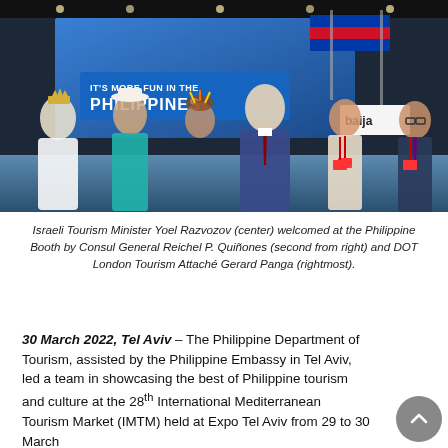[Figure (photo): Group photo at Philippine tourism booth at IMTM expo. Israeli Tourism Minister Yoel Razvozov (center, tall man in blue suit and dark red tie) stands with five other people including a woman in white bridal gown and crown on the far left, a man in teal/turquoise barong, a man in traditional headdress, a woman in beige top with conference lanyard, and a man in glasses on far right. Background shows 'IT'S MORE FUN IN THE PHILIPPINES' booth signage with Philippine flag.]
Israeli Tourism Minister Yoel Razvozov (center) welcomed at the Philippine Booth by Consul General Reichel P. Quiñones (second from right) and DOT London Tourism Attaché Gerard Panga (rightmost).
30 March 2022, Tel Aviv – The Philippine Department of Tourism, assisted by the Philippine Embassy in Tel Aviv, led a team in showcasing the best of Philippine tourism and culture at the 28th International Mediterranean Tourism Market (IMTM) held at Expo Tel Aviv from 29 to 30 March